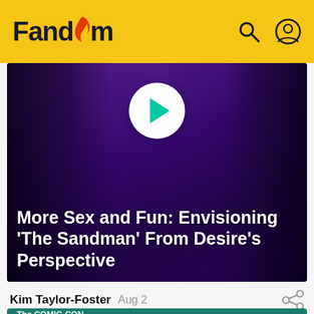Fandom
[Figure (photo): Hero image with dark purple/violet background showing a figure with elaborate dark hair/costume, with a play button overlay. Article title overlaid at bottom: More Sex and Fun: Envisioning ‘The Sandman’ From Desire’s Perspective]
More Sex and Fun: Envisioning ‘The Sandman’ From Desire’s Perspective
Kim Taylor-Foster  Aug 2
The COMIC-CON